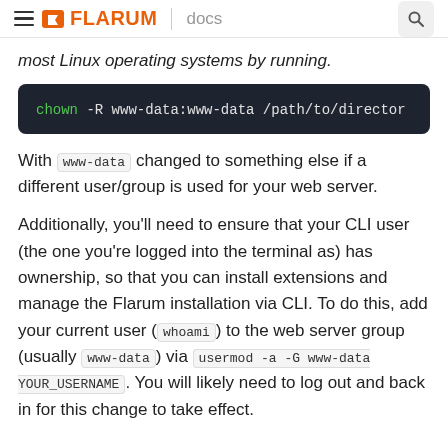≡ FLARUM | docs [search]
most Linux operating systems by running.
[Figure (screenshot): Dark code block showing: chown -R www-data:www-data /path/to/director]
With www-data changed to something else if a different user/group is used for your web server.
Additionally, you'll need to ensure that your CLI user (the one you're logged into the terminal as) has ownership, so that you can install extensions and manage the Flarum installation via CLI. To do this, add your current user (whoami) to the web server group (usually www-data) via usermod -a -G www-data YOUR_USERNAME. You will likely need to log out and back in for this change to take effect.